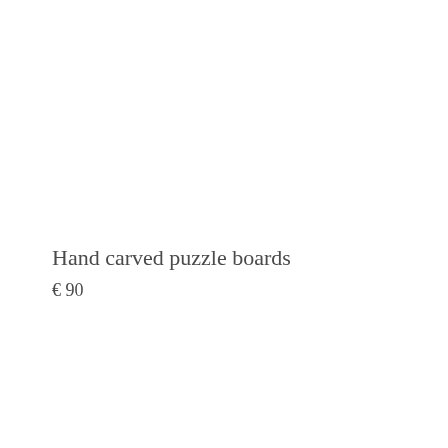Hand carved puzzle boards
€ 90